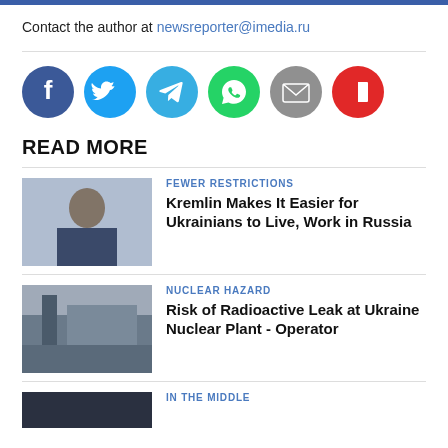Contact the author at newsreporter@imedia.ru
[Figure (infographic): Row of 6 social share icon circles: Facebook (dark blue), Twitter (light blue), Telegram (blue), WhatsApp (green), Email (gray), Flipboard (red)]
READ MORE
[Figure (photo): Photo of a man in a suit seated at a desk, presumed to be a political figure]
FEWER RESTRICTIONS
Kremlin Makes It Easier for Ukrainians to Live, Work in Russia
[Figure (photo): Photo of a large industrial building, likely a nuclear power plant]
NUCLEAR HAZARD
Risk of Radioactive Leak at Ukraine Nuclear Plant - Operator
[Figure (photo): Partial photo at the bottom of the page, cut off]
IN THE MIDDLE